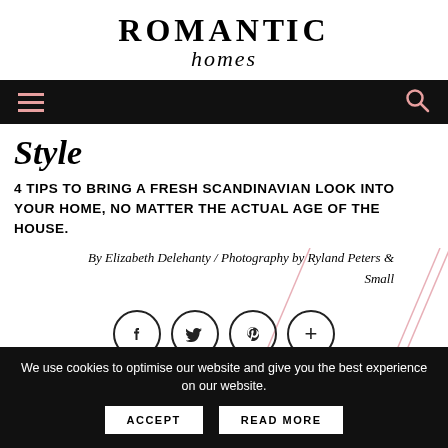ROMANTIC homes
[Figure (screenshot): Navigation bar with hamburger menu icon on left and search icon on right, black background with pink/rose colored icons]
Style
4 TIPS TO BRING A FRESH SCANDINAVIAN LOOK INTO YOUR HOME, NO MATTER THE ACTUAL AGE OF THE HOUSE.
By Elizabeth Delehanty / Photography by Ryland Peters & Small
[Figure (infographic): Social sharing icons row: Facebook, Twitter, Pinterest, and Plus buttons in circular outlines, with decorative diagonal slash lines in pink]
The northern location of Sweden results in summers that
We use cookies to optimise our website and give you the best experience on our website.